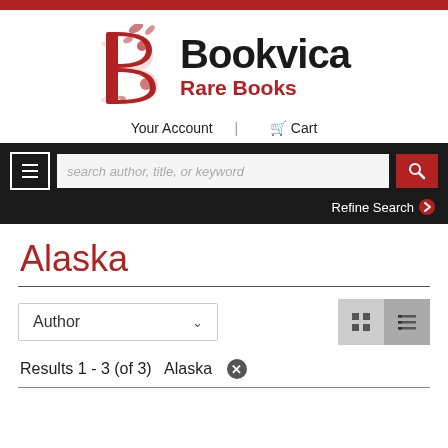[Figure (logo): Bookvica Rare Books logo with decorative red illuminated letter B and bold black Bookvica text with red Rare Books subtitle]
Your Account  |  🛒 Cart
search author, title, or keyword
Refine Search ❯
Alaska
Author
Results 1 - 3 (of 3)  Alaska ✕